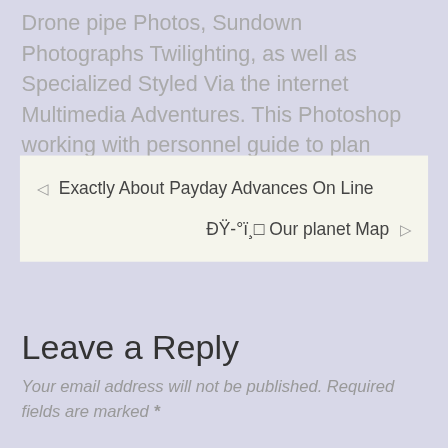Drone pipe Photos, Sundown Photographs Twilighting, as well as Specialized Styled Via the internet Multimedia Adventures. This Photoshop working with personnel guide to plan modern located on your photographs.
◁  Exactly About Payday Advances On Line
ÐŸ-°ï¸□ Our planet Map  ▷
Leave a Reply
Your email address will not be published. Required fields are marked *